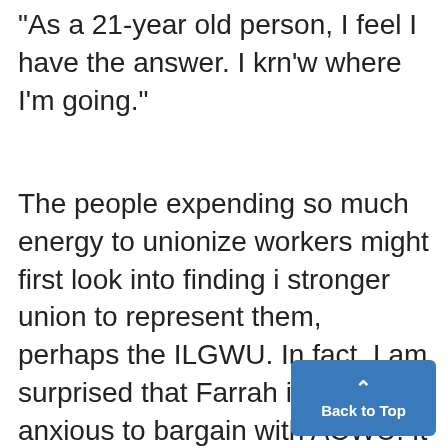"As a 21-year old person, I feel I have the answer. I krn'w where I'm going."
The people expending so much energy to unionize workers might first look into finding i stronger union to represent them, perhaps the ILGWU. In fact, I am surprised that Farrah is not anxious to bargain with ACWU. It is a situation similar to the farm corporations dealing with the Teamste -Kayleen Saucier